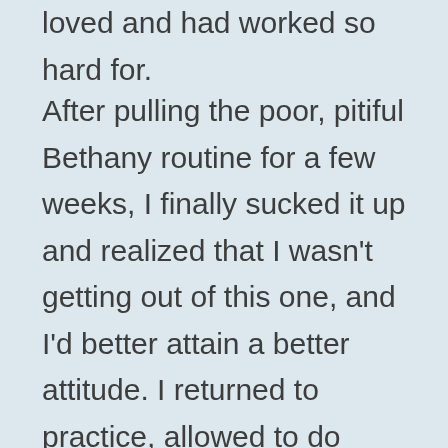loved and had worked so hard for.
After pulling the poor, pitiful Bethany routine for a few weeks, I finally sucked it up and realized that I wasn't getting out of this one, and I'd better attain a better attitude. I returned to practice, allowed to do conditioning and minimal work with the team until cleared by my doctor. There were times when my arm felt like a rubber band stretched way too far, not snapping back the way it should have. To aid in the recovery process, my stepdad even crafted me my own full-length balance beam to practice on at home.